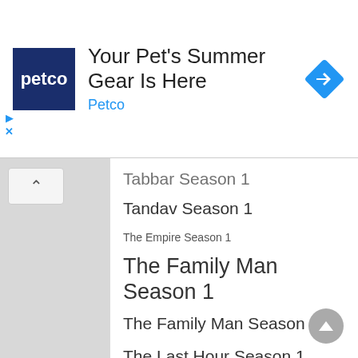[Figure (logo): Petco logo, dark blue square with white 'petco' text]
Your Pet's Summer Gear Is Here
Petco
[Figure (illustration): Blue diamond navigation/direction icon]
Tabbar Season 1 (partially visible)
Tandav Season 1   The Empire Season 1
The Family Man Season 1
The Family Man Season 2
The Last Hour Season 1
The Married Woman Season 1
TV Celebrity and their Gossips
Ye Kali Kali Ankhein Season 1